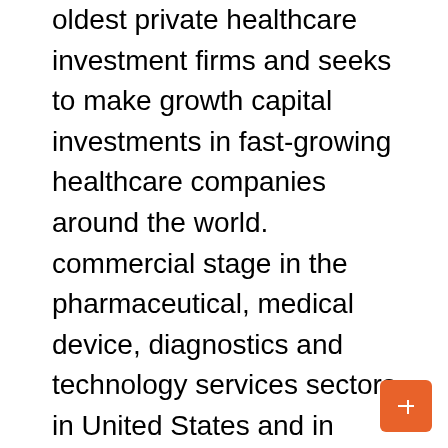oldest private healthcare investment firms and seeks to make growth capital investments in fast-growing healthcare companies around the world. commercial stage in the pharmaceutical, medical device, diagnostics and technology services sectors in United States and in Europe. Since its inception in 1985, EW Healthcare Partners has maintained its singular commitment to the healthcare industry and has been a long-term investor in over 150 healthcare companies, spanning all industries, stages and geographies. The team is made up of more than 20 experienced investment professionals with offices in Palo Alto, Houston, New York, and London. For more information, visit